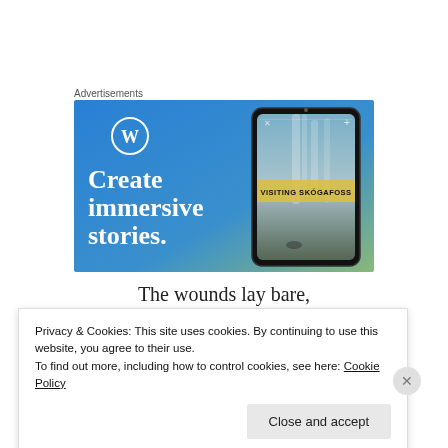Advertisements
[Figure (illustration): WordPress advertisement banner showing 'Create immersive stories.' text with WordPress logo on a blue gradient background and a smartphone displaying a waterfall photo with 'VISITING SKÓGAFOSS' label]
The wounds lay bare,
Privacy & Cookies: This site uses cookies. By continuing to use this website, you agree to their use.
To find out more, including how to control cookies, see here: Cookie Policy
Close and accept